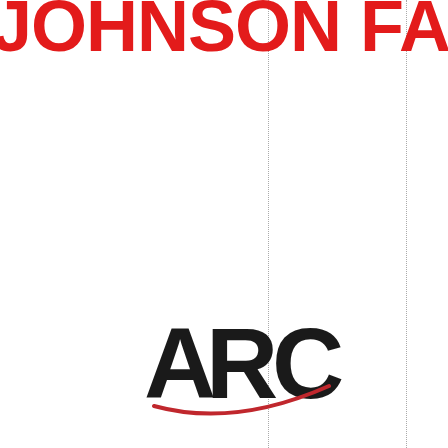JOHNSON FA
PRINTED MATERIA
[Figure (logo): ARC logo — letters A, R, C in black with a red sweeping arc/underline beneath]